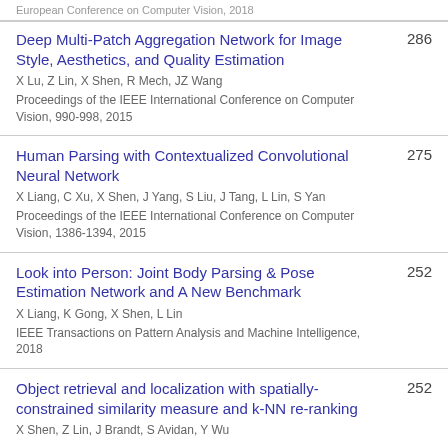European Conference on Computer Vision, 2018
Deep Multi-Patch Aggregation Network for Image Style, Aesthetics, and Quality Estimation
X Lu, Z Lin, X Shen, R Mech, JZ Wang
Proceedings of the IEEE International Conference on Computer Vision, 990-998, 2015
286
Human Parsing with Contextualized Convolutional Neural Network
X Liang, C Xu, X Shen, J Yang, S Liu, J Tang, L Lin, S Yan
Proceedings of the IEEE International Conference on Computer Vision, 1386-1394, 2015
275
Look into Person: Joint Body Parsing & Pose Estimation Network and A New Benchmark
X Liang, K Gong, X Shen, L Lin
IEEE Transactions on Pattern Analysis and Machine Intelligence, 2018
252
Object retrieval and localization with spatially-constrained similarity measure and k-NN re-ranking
X Shen, Z Lin, J Brandt, S Avidan, Y Wu
252